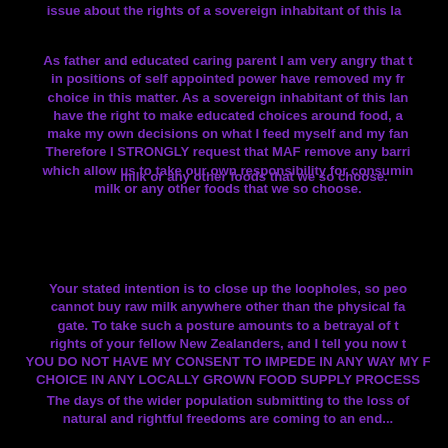issue about the rights of a sovereign inhabitant of this la
As father and educated caring parent I am very angry that those in positions of self appointed power have removed my free choice in this matter. As a sovereign inhabitant of this land I have the right to make educated choices around food, and make my own decisions on what I feed myself and my family. Therefore I STRONGLY request that MAF remove any barriers which allow us to take our own responsibility for consuming raw milk or any other foods that we so choose.
Your stated intention is to close up the loopholes, so people cannot buy raw milk anywhere other than the physical farm gate. To take such a posture amounts to a betrayal of the rights of your fellow New Zealanders, and I tell you now that YOU DO NOT HAVE MY CONSENT TO IMPEDE IN ANY WAY MY FOOD CHOICE IN ANY LOCALLY GROWN FOOD SUPPLY PROCESS
The days of the wider population submitting to the loss of their natural and rightful freedoms are coming to an end...